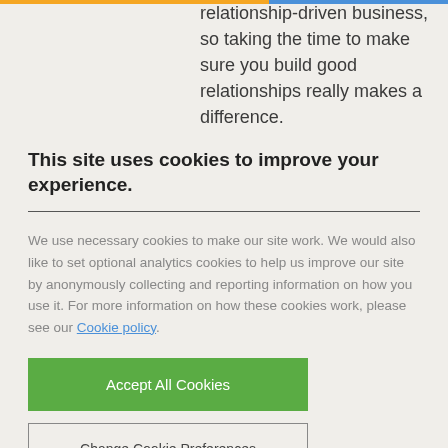relationship-driven business, so taking the time to make sure you build good relationships really makes a difference.
This site uses cookies to improve your experience.
We use necessary cookies to make our site work. We would also like to set optional analytics cookies to help us improve our site by anonymously collecting and reporting information on how you use it. For more information on how these cookies work, please see our Cookie policy.
Accept All Cookies
Change Cookie Preferences